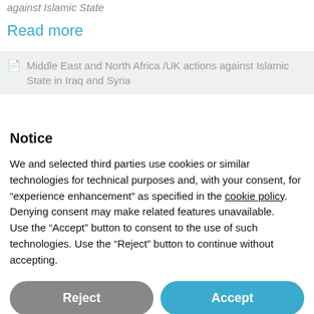against Islamic State
Read more
Middle East and North Africa /UK actions against Islamic State in Iraq and Syria
Notice
We and selected third parties use cookies or similar technologies for technical purposes and, with your consent, for “experience enhancement” as specified in the cookie policy. Denying consent may make related features unavailable.
Use the “Accept” button to consent to the use of such technologies. Use the “Reject” button to continue without accepting.
Reject
Accept
Learn more and customise